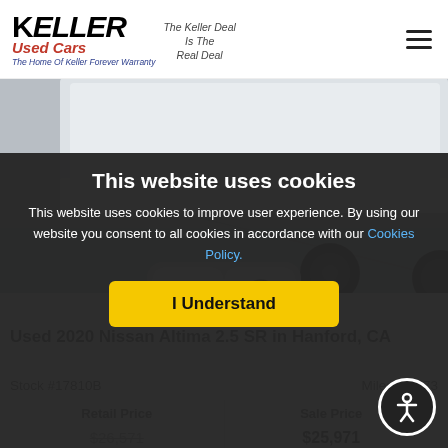Keller Used Cars — The Keller Deal Is The Real Deal — The Home Of Keller Forever Warranty
[Figure (photo): Photo of a white 2020 Nissan Altima 2.5 SR, bottom portion visible showing front bumper, wheels, on a concrete surface]
Used 2020 Nissan Altima 2.5 SR in Hanford, CA
Stock #17810B   Miles: 59873
| Retail Price | Sale Price |
| --- | --- |
| $26,571 | $25,971 |
This website uses cookies
This website uses cookies to improve user experience. By using our website you consent to all cookies in accordance with our Cookies Policy.
I Understand